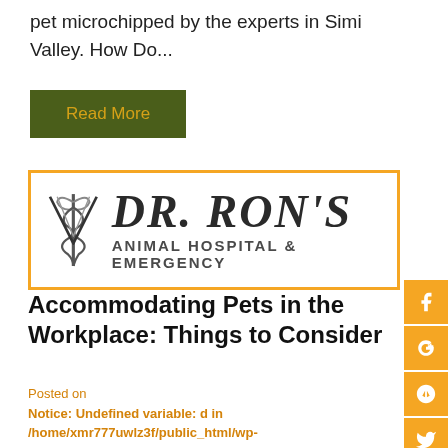pet microchipped by the experts in Simi Valley. How Do...
Read More
[Figure (logo): Dr. Ron's Animal Hospital & Emergency logo with caduceus/veterinary symbol]
Accommodating Pets in the Workplace: Things to Consider
Posted on
Notice: Undefined variable: d in /home/xmr777uwlz3f/public_html/wp-content/themes/drronsanimalhospital/archive.php on line 50